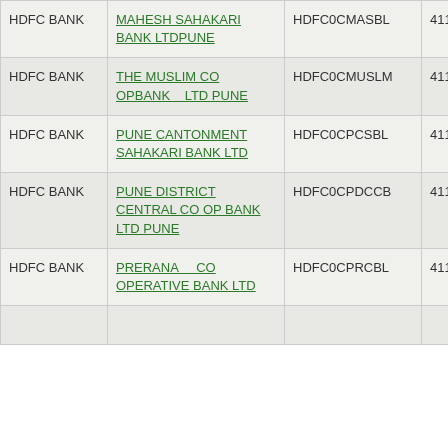| HDFC BANK | MAHESH SAHAKARI BANK LTDPUNE | HDFC0CMASBL | 411175001 |
| HDFC BANK | THE MUSLIM CO OPBANK LTD PUNE | HDFC0CMUSLM | 411165001 |
| HDFC BANK | PUNE CANTONMENT SAHAKARI BANK LTD | HDFC0CPCSBL | 411174269 |
| HDFC BANK | PUNE DISTRICT CENTRAL CO OP BANK LTD PUNE | HDFC0CPDCCB | 411174001 |
| HDFC BANK | PRERANA CO OPERATIVE BANK LTD | HDFC0CPRCBL | 411164300 |